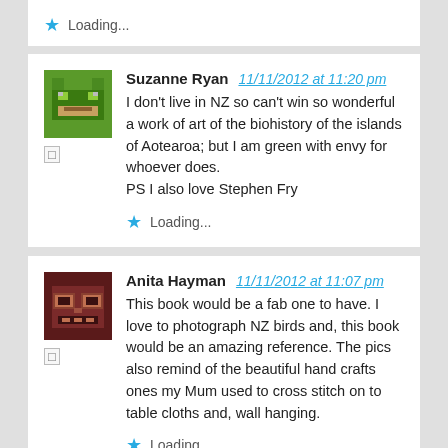Loading...
Suzanne Ryan 11/11/2012 at 11:20 pm
I don't live in NZ so can't win so wonderful a work of art of the biohistory of the islands of Aotearoa; but I am green with envy for whoever does.
PS I also love Stephen Fry
Loading...
Anita Hayman 11/11/2012 at 11:07 pm
This book would be a fab one to have. I love to photograph NZ birds and, this book would be an amazing reference. The pics also remind of the beautiful hand crafts ones my Mum used to cross stitch on to table cloths and, wall hanging.
Loading...